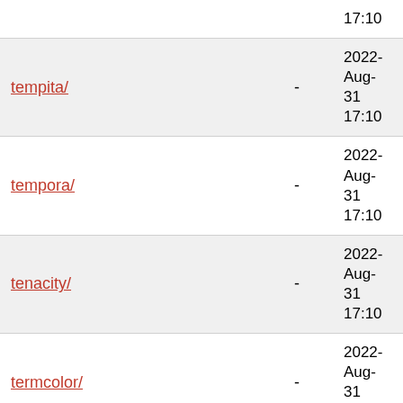| Name | Size | Last Modified |
| --- | --- | --- |
| (partial top row) | - | 17:10 |
| tempita/ | - | 2022-Aug-31 17:10 |
| tempora/ | - | 2022-Aug-31 17:10 |
| tenacity/ | - | 2022-Aug-31 17:10 |
| termcolor/ | - | 2022-Aug-31 17:10 |
| terminado/ | - | 2022-Aug-31 17:10 |
| terminaltables/ | - | 2022-Aug-31 17:10 |
| test_server/ | - | 2022-Aug-31 17:10 |
| (partial bottom row) |  | 2022- |